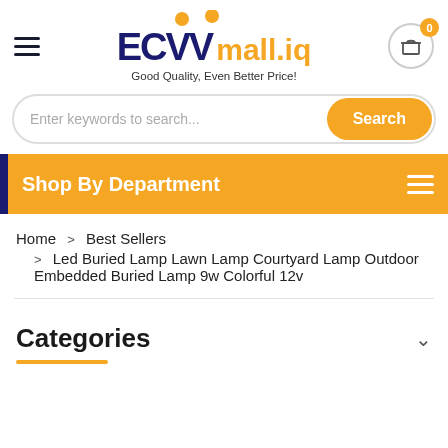[Figure (logo): ECVV mall.iq logo with orange dots above letters and tagline 'Good Quality, Even Better Price!']
Enter keywords to search...
Shop By Department
Home > Best Sellers > Led Buried Lamp Lawn Lamp Courtyard Lamp Outdoor Embedded Buried Lamp 9w Colorful 12v
Categories